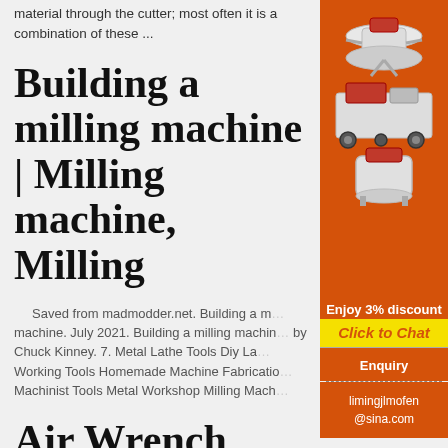material through the cutter; most often it is a combination of these ...
Building a milling machine | Milling machine, Milling
Saved from madmodder.net. Building a milling machine. July 2021. Building a milling machine by Chuck Kinney. 7. Metal Lathe Tools Diy Lathe Working Tools Homemade Machine Fabrication Machinist Tools Metal Workshop Milling Mach...
[Figure (illustration): Advertisement panel with orange background showing industrial machines (crusher, mill equipment). Text: Enjoy 3% discount, Click to Chat, Enquiry, limingjlmofen@sina.com]
Air Wrench Becomes A Milling Machine Power Drawbar |